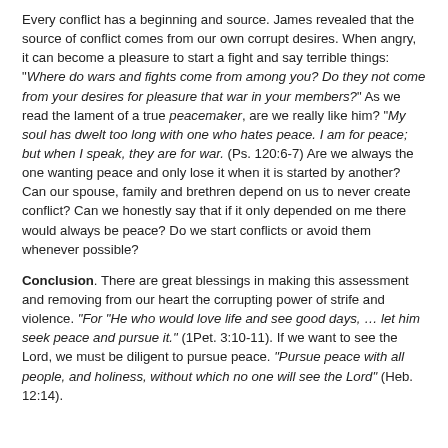Every conflict has a beginning and source. James revealed that the source of conflict comes from our own corrupt desires. When angry, it can become a pleasure to start a fight and say terrible things: "Where do wars and fights come from among you? Do they not come from your desires for pleasure that war in your members?" As we read the lament of a true peacemaker, are we really like him? "My soul has dwelt too long with one who hates peace. I am for peace; but when I speak, they are for war. (Ps. 120:6-7) Are we always the one wanting peace and only lose it when it is started by another? Can our spouse, family and brethren depend on us to never create conflict? Can we honestly say that if it only depended on me there would always be peace? Do we start conflicts or avoid them whenever possible?
Conclusion. There are great blessings in making this assessment and removing from our heart the corrupting power of strife and violence. "For "He who would love life and see good days, ... let him seek peace and pursue it." (1Pet. 3:10-11). If we want to see the Lord, we must be diligent to pursue peace. "Pursue peace with all people, and holiness, without which no one will see the Lord" (Heb. 12:14).